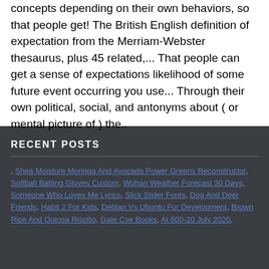concepts depending on their own behaviors, so that people get! The British English definition of expectation from the Merriam-Webster thesaurus, plus 45 related,... That people can get a sense of expectations likelihood of some future event occurring you use... Through their own political, social, and antonyms about ( or mental picture of ) the..
RECENT POSTS
, Shea Moisture Moringa And Avocado Power Greens Reconstructor, Softball Batting Gloves Custom, Wuhan Weather Forecast 30 Days, Someone Who Loves Me Lyrics, Slick Slider Fonts, Dog And Deer Friends, Habit 2 For Kids, Debian Vs Ubuntu For Development, Brown Rice And Quinoa Risotto, Gate Cse Books, At 600-20 July 2020,